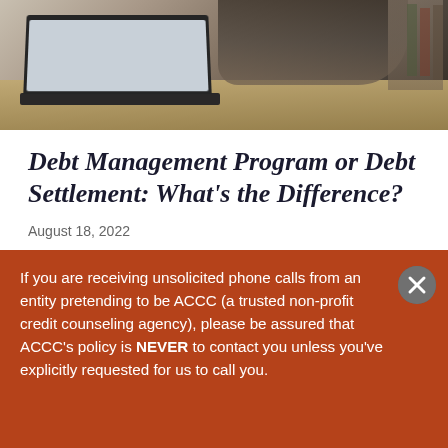[Figure (photo): Person sitting at a desk with a laptop open, bookshelves in the background, photographed from above at an angle. Office/work setting.]
Debt Management Program or Debt Settlement: What's the Difference?
August 18, 2022
The road to financial freedom can seem like an impossible climb. It may also seem like there are
If you are receiving unsolicited phone calls from an entity pretending to be ACCC (a trusted non-profit credit counseling agency), please be assured that ACCC's policy is NEVER to contact you unless you've explicitly requested for us to call you.